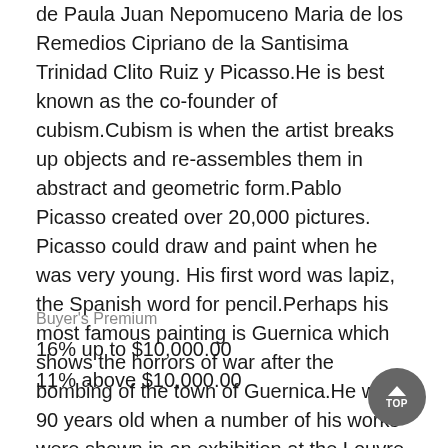de Paula Juan Nepomuceno Maria de los Remedios Cipriano de la Santisima Trinidad Clito Ruiz y Picasso.He is best known as the co-founder of cubism.Cubism is when the artist breaks up objects and re-assembles them in abstract and geometric form.Pablo Picasso created over 20,000 pictures. Picasso could draw and paint when he was very young. His first word was lapiz, the Spanish word for pencil.Perhaps his most famous painting is Guernica which shows the horrors of war after the bombing of the town of Guernica.He was 90 years old when a number of his works were shown in an exhibition at the Louvre in Paris. He was the first living artist to have an exhibition at the Louvre.Picasso had four children with three women. He died of heart failure in 1973.
Buyer's Premium
16% up to $10,000.00
11% above $10,000.00